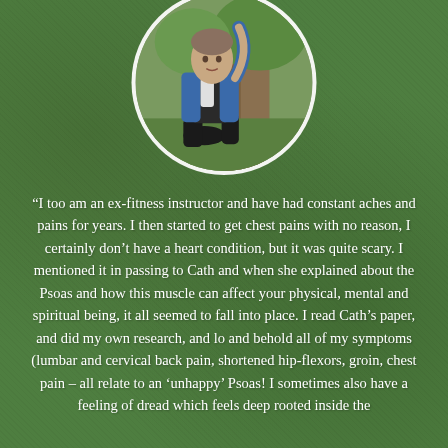[Figure (photo): Circular cropped photo of a person sitting against a tree, wearing a blue denim jacket and black pants, in an outdoor garden/park setting]
“I too am an ex-fitness instructor and have had constant aches and pains for years. I then started to get chest pains with no reason, I certainly don’t have a heart condition, but it was quite scary. I mentioned it in passing to Cath and when she explained about the Psoas and how this muscle can affect your physical, mental and spiritual being, it all seemed to fall into place. I read Cath’s paper, and did my own research, and lo and behold all of my symptoms (lumbar and cervical back pain, shortened hip-flexors, groin, chest pain – all relate to an ‘unhappy’ Psoas! I sometimes also have a feeling of dread which feels deep rooted inside the